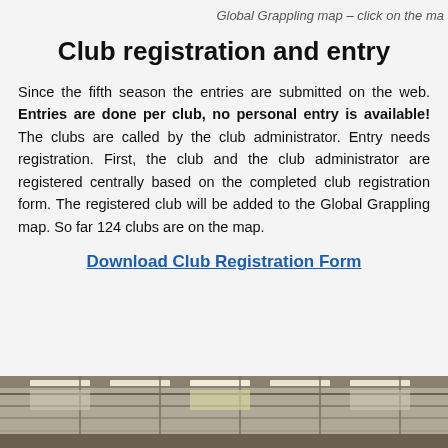Global Grappling map – click on the ma
Club registration and entry
Since the fifth season the entries are submitted on the web. Entries are done per club, no personal entry is available! The clubs are called by the club administrator. Entry needs registration. First, the club and the club administrator are registered centrally based on the completed club registration form. The registered club will be added to the Global Grappling map. So far 124 clubs are on the map.
Download Club Registration Form
[Figure (photo): Photo of a gymnasium/sports hall interior showing the ceiling with fluorescent lights and structural beams.]